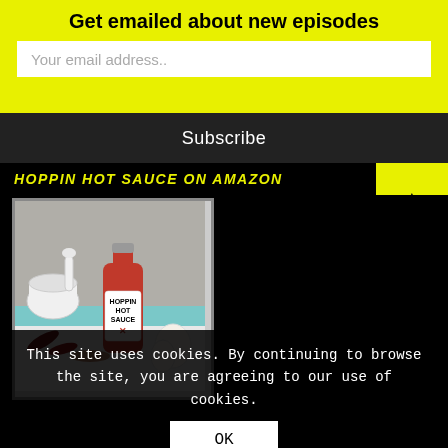Get emailed about new episodes
Your email address..
Subscribe
HOPPIN HOT SAUCE ON AMAZON
[Figure (photo): Bottle of Hoppin Hot Sauce with a mortar and pestle and garlic cloves on a light surface]
This site uses cookies. By continuing to browse the site, you are agreeing to our use of cookies.
OK